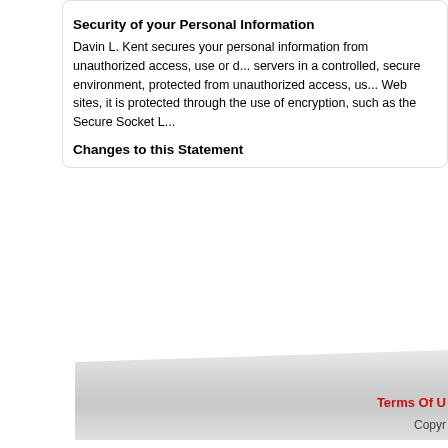Security of your Personal Information
Davin L. Kent secures your personal information from unauthorized access, use or disclosure. Davin L. Kent secures the personally identifiable information you provide on computer servers in a controlled, secure environment, protected from unauthorized access, use or disclosure. When personal information (such as a credit card number) is transmitted to other Web sites, it is protected through the use of encryption, such as the Secure Socket Layer (SSL) protocol.
Changes to this Statement
Davin L. Kent will occasionally update this Statement of Privacy to reflect company and customer feedback. Davin L. Kent encourages you to periodically review this Statement to be informed of how Davin L. Kent is protecting your information.
Contact Information
Davin L. Kent welcomes your comments regarding this Statement of Privacy. If you believe that Davin L. Kent has not adhered to this Statement, please contact Davin L. Kent at author@dlkent.com. We will use commercially reasonable efforts to promptly determine and remedy the problem.
Terms Of Use   Copyright